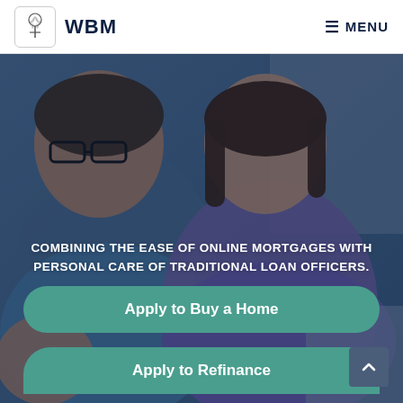WBM | ☰ MENU
[Figure (photo): A smiling couple (man with glasses and woman) looking at something together, with a blue-tinted overlay. Hero banner image for a mortgage website.]
COMBINING THE EASE OF ONLINE MORTGAGES WITH PERSONAL CARE OF TRADITIONAL LOAN OFFICERS.
Apply to Buy a Home
Apply to Refinance